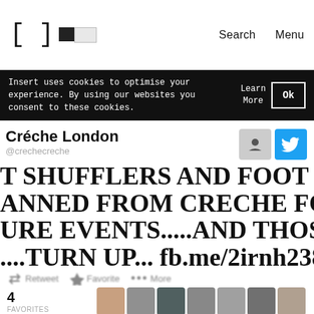[ ] [toggle] Search Menu
Insert uses cookies to optimise your experience. By using our websites you consent to these cookies. Learn More Ok
Créche London @crechecreche
T SHUFFLERS AND FOOT SHUFF ANNED FROM CRECHE FOR ALL URE EVENTS.....AND THOSE DO ....TURN UP... fb.me/2irnh238r
Retweet Favorite More
4 FAVORITES